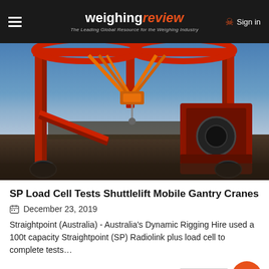weighing review — The Leading Global Resource for the Weighing Industry
[Figure (photo): Outdoor industrial scene showing red Shuttlelift mobile gantry cranes with orange lifting slings against a blue sky, lifting a large piece of heavy machinery on a concrete yard.]
SP Load Cell Tests Shuttlelift Mobile Gantry Cranes
December 23, 2019
Straightpoint (Australia) - Australia's Dynamic Rigging Hire used a 100t capacity Straightpoint (SP) Radiolink plus load cell to complete tests…